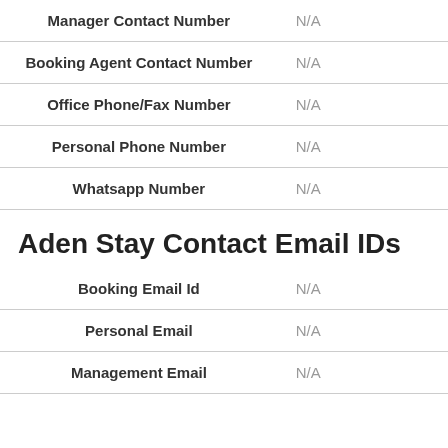| Field | Value |
| --- | --- |
| Manager Contact Number | N/A |
| Booking Agent Contact Number | N/A |
| Office Phone/Fax Number | N/A |
| Personal Phone Number | N/A |
| Whatsapp Number | N/A |
Aden Stay Contact Email IDs
| Field | Value |
| --- | --- |
| Booking Email Id | N/A |
| Personal Email | N/A |
| Management Email | N/A |